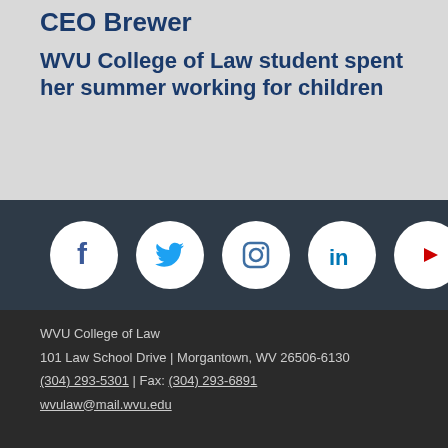CEO Brewer
WVU College of Law student spent her summer working for children
[Figure (infographic): Social media icons row: Facebook, Twitter, Instagram, LinkedIn, YouTube — each in a white circle on dark background]
WVU College of Law
101 Law School Drive | Morgantown, WV 26506-6130
(304) 293-5301 | Fax: (304) 293-6891
wvulaw@mail.wvu.edu